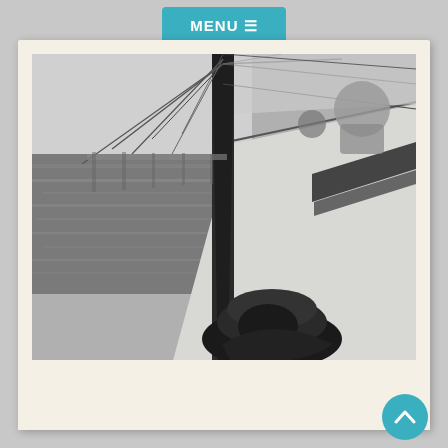MENU ☰
[Figure (photo): Black and white photograph taken from the deck of a sailing yacht. The mast and rigging are prominent in the center-foreground. The deck extends to the right, and the open sea is visible to the left. Silhouettes of people are visible near the stern. Equipment and fittings are visible in the foreground.]
The cruise is formed based to the wind. Our intention is to show you the bigger part of caldera by sailing. You will admire the geological structure